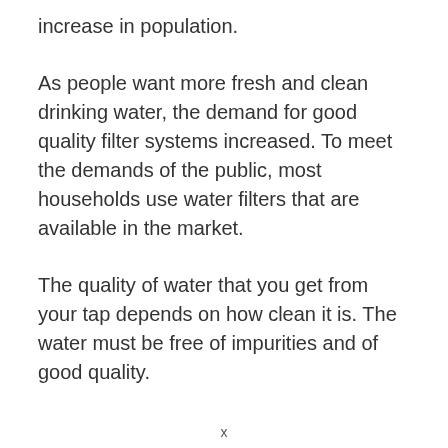increase in population.
As people want more fresh and clean drinking water, the demand for good quality filter systems increased. To meet the demands of the public, most households use water filters that are available in the market.
The quality of water that you get from your tap depends on how clean it is. The water must be free of impurities and of good quality.
x